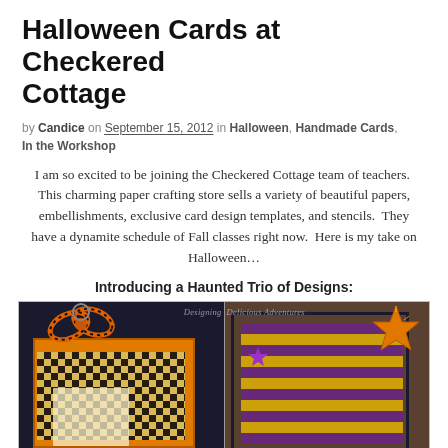Halloween Cards at Checkered Cottage
by Candice on September 15, 2012 in Halloween, Handmade Cards, In the Workshop
I am so excited to be joining the Checkered Cottage team of teachers.  This charming paper crafting store sells a variety of beautiful papers, embellishments, exclusive card design templates, and stencils.  They have a dynamite schedule of Fall classes right now.  Here is my take on Halloween…
Introducing a Haunted Trio of Designs:
[Figure (photo): Two Halloween handmade cards side by side. Left card features an orange checkered background with a spider web, orange/black ribbon tied at top, and a dark navy border. Right card has purple and gold stripes, a large orange glitter star, a purple star, and golden text/embellishments on a dark background. Watermark reads 'Designing Delicious Adventures'.]